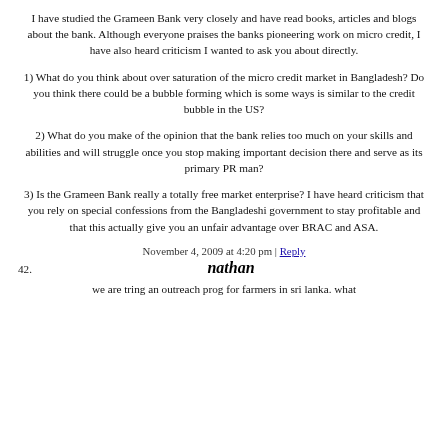I have studied the Grameen Bank very closely and have read books, articles and blogs about the bank. Although everyone praises the banks pioneering work on micro credit, I have also heard criticism I wanted to ask you about directly.
1) What do you think about over saturation of the micro credit market in Bangladesh? Do you think there could be a bubble forming which is some ways is similar to the credit bubble in the US?
2) What do you make of the opinion that the bank relies too much on your skills and abilities and will struggle once you stop making important decision there and serve as its primary PR man?
3) Is the Grameen Bank really a totally free market enterprise? I have heard criticism that you rely on special confessions from the Bangladeshi government to stay profitable and that this actually give you an unfair advantage over BRAC and ASA.
November 4, 2009 at 4:20 pm | Reply
42. nathan
we are tring an outreach prog for farmers in sri lanka. what